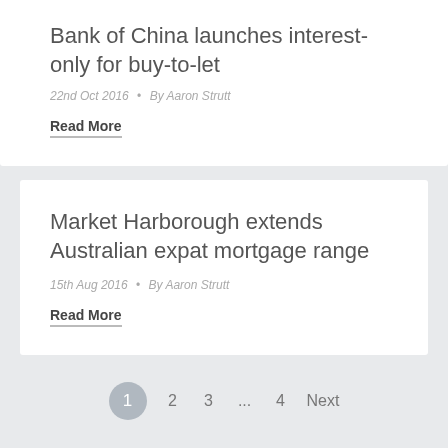Bank of China launches interest-only for buy-to-let
22nd Oct 2016 • By Aaron Strutt
Read More
Market Harborough extends Australian expat mortgage range
15th Aug 2016 • By Aaron Strutt
Read More
1  2  3  ...  4  Next